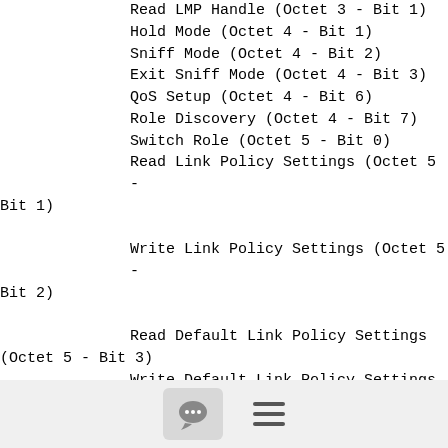Read LMP Handle (Octet 3 - Bit 1)
Hold Mode (Octet 4 - Bit 1)
Sniff Mode (Octet 4 - Bit 2)
Exit Sniff Mode (Octet 4 - Bit 3)
QoS Setup (Octet 4 - Bit 6)
Role Discovery (Octet 4 - Bit 7)
Switch Role (Octet 5 - Bit 0)
Read Link Policy Settings (Octet 5 - Bit 1)
Write Link Policy Settings (Octet 5 - Bit 2)
Read Default Link Policy Settings (Octet 5 - Bit 3)
Write Default Link Policy Settings (Octet 5 - Bit 4)
Flow Specification (Octet 5 - Bit 5)
Set Event Mask (Octet 5 - Bit 6)
Reset (Octet 5 - Bit 7)